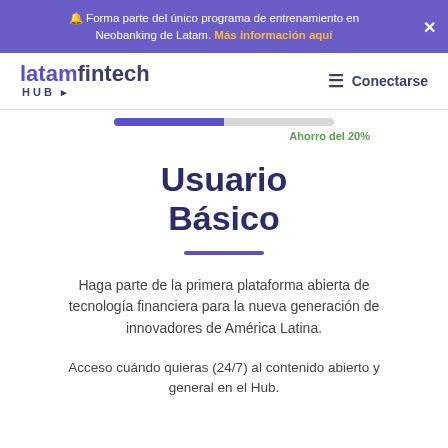🔔 Forma parte del único programa de entrenamiento en Neobanking de Latam. Más información aquí
[Figure (logo): latamfintech HUB logo in purple and dark navy colors]
≡ Conectarse
Ahorro del 20%
Usuario Básico
Haga parte de la primera plataforma abierta de tecnología financiera para la nueva generación de innovadores de América Latina.
Acceso cuándo quieras (24/7) al contenido abierto y general en el Hub.